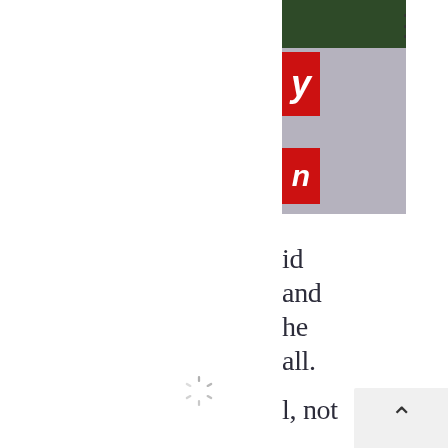[Figure (photo): Partial view of a photo on the right side showing dark green foliage at top, a grey/lavender background, and two red label bars with white italic letters 'y' and 'n' on the left edge of the photo]
id
and
he
all.
l, not